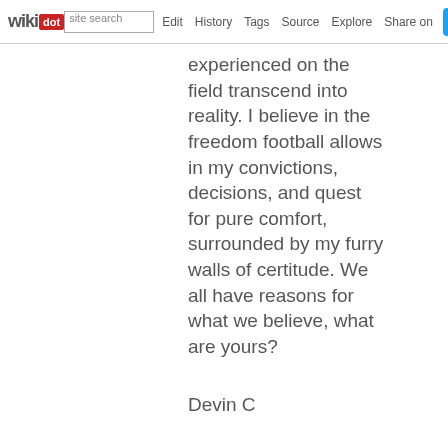wikidot | Edit | History | Tags | Source | Explore | Share on
experienced on the field transcend into reality. I believe in the freedom football allows in my convictions, decisions, and quest for pure comfort, surrounded by my furry walls of certitude. We all have reasons for what we believe, what are yours?
Devin C
page revision: